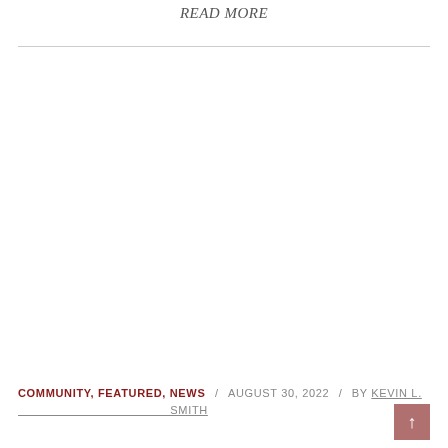READ MORE
COMMUNITY, FEATURED, NEWS / AUGUST 30, 2022 / BY KEVIN L. SMITH